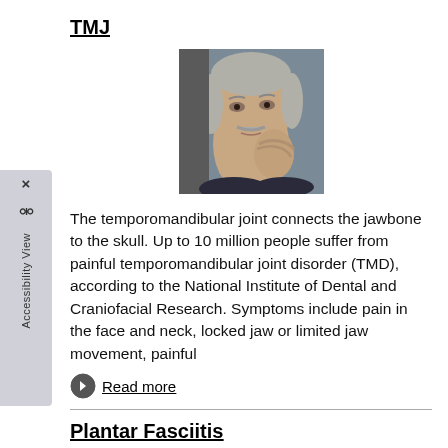TMJ
[Figure (photo): Older man with mustache holding his jaw/neck area, appearing to be in pain from TMJ]
The temporomandibular joint connects the jawbone to the skull. Up to 10 million people suffer from painful temporomandibular joint disorder (TMD), according to the National Institute of Dental and Craniofacial Research. Symptoms include pain in the face and neck, locked jaw or limited jaw movement, painful
Read more
Plantar Fasciitis
[Figure (photo): Partial photo visible at bottom of page related to Plantar Fasciitis]